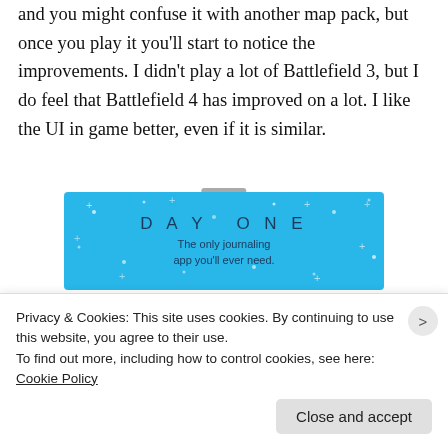and you might confuse it with another map pack, but once you play it you'll start to notice the improvements. I didn't play a lot of Battlefield 3, but I do feel that Battlefield 4 has improved on a lot. I like the UI in game better, even if it is similar.
[Figure (other): Day One journaling app advertisement with blue background, stars decorations, text 'DAY ONE' and 'The only journaling app you'll ever need.']
Privacy & Cookies: This site uses cookies. By continuing to use this website, you agree to their use.
To find out more, including how to control cookies, see here: Cookie Policy
Close and accept